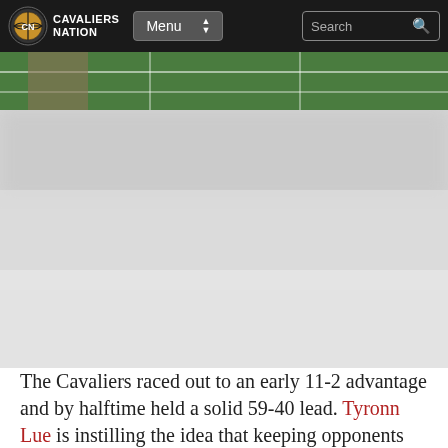Cavaliers Nation | Menu | Search
[Figure (photo): Partial view of a basketball court with green floor, top portion cut off; large blurred article image in the center of the page]
The Cavaliers raced out to an early 11-2 advantage and by halftime held a solid 59-40 lead. Tyronn Lue is instilling the idea that keeping opponents on their toes is the best way for the Cavs to compete, which means constant movement.